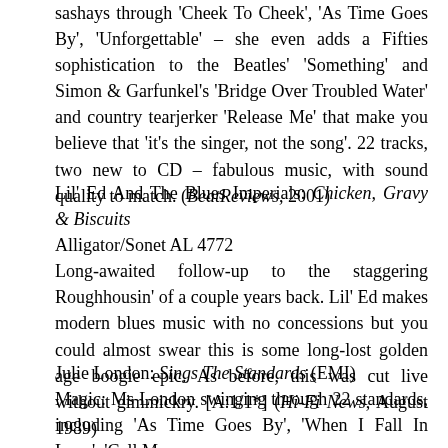sashays through 'Cheek To Cheek', 'As Time Goes By', 'Unforgettable' – she even adds a Fifties sophistication to the Beatles' 'Something' and Simon & Garfunkel's 'Bridge Over Troubled Water' and country tearjerker 'Release Me' that make you believe that 'it's the singer, not the song'. 22 tracks, two new to CD – fabulous music, with sound quality to match. (BeatReviews, 2001)
Lil' Ed And The Blues Imperials: Chicken, Gravy & Biscuits Alligator/Sonet AL 4772 Long-awaited follow-up to the staggering Roughhousin' of a couple years back. Lil' Ed makes modern blues music with no concessions but you could almost swear this is some long-lost golden age boogie epic. As before, this was cut live without gimmickry. [A:1/1*] (Hi-Fi News, August 1989)
Julie London: Sings The Standards (EMI) Magic: Ms London swinging through 22 standards, including 'As Time Goes By', 'When I Fall In Love', 'Call Me